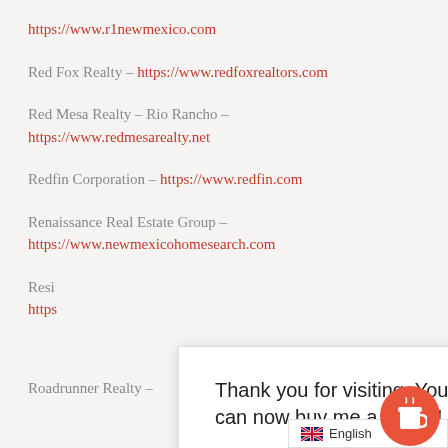https://www.r1newmexico.com
Red Fox Realty – https://www.redfoxrealtors.com
Red Mesa Realty – Rio Rancho – https://www.redmesarealty.net
Redfin Corporation – https://www.redfin.com
Renaissance Real Estate Group – https://www.newmexicohomesearch.com
Resi... https://...
Thank you for visiting. You can now buy me a coffee!
Roadrunner Realty –
English